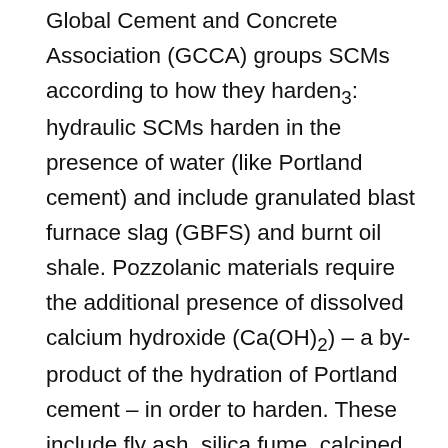Global Cement and Concrete Association (GCCA) groups SCMs according to how they harden₃: hydraulic SCMs harden in the presence of water (like Portland cement) and include granulated blast furnace slag (GBFS) and burnt oil shale. Pozzolanic materials require the additional presence of dissolved calcium hydroxide (Ca(OH)₂) – a by-product of the hydration of Portland cement – in order to harden. These include fly ash, silica fume, calcined clays, burnt rice husk and natural pozzolans. Hydraulic cements have a higher early age strength, while pozzolans continue to gain strength for a longer period, giving a higher long-term concrete strength. Both have been proven in construction applications. Limestone is not classified as either hydraulic or pozzolanic but also contributes to the hardening of concrete, putting it in a SCMs category of its own. Table 1 ...